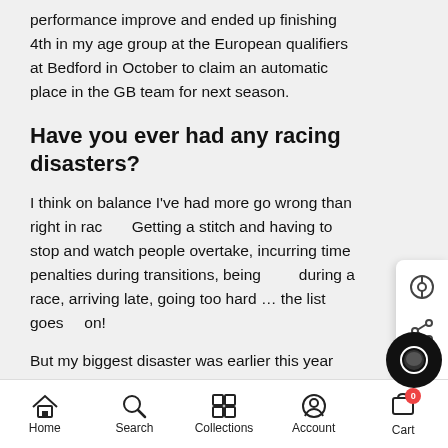performance improve and ended up finishing 4th in my age group at the European qualifiers at Bedford in October to claim an automatic place in the GB team for next season.
Have you ever had any racing disasters?
I think on balance I've had more go wrong than right in racing. Getting a stitch and having to stop and watch people overtake, incurring time penalties during transitions, being [cut off] during a race, arriving late, going too hard … the list goes on!
But my biggest disaster was earlier this year when I lost count of laps during the bike leg of my first attempt at qualifying for Age Group GB and had to ride around for a soul de[stroying] extra lap. I kept going and finished the race but it [cut off]
Home  Search  Collections  Account  Cart